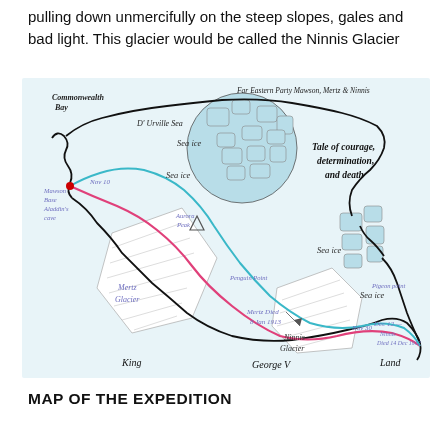pulling down unmercifully on the steep slopes, gales and bad light. This glacier would be called the Ninnis Glacier
[Figure (map): Map of the Far Eastern Party expedition route by Mawson, Mertz & Ninnis across King George V Land, showing the route from Commonwealth Bay/Mawson Base past Aurora Peak, Mertz Glacier, Penguin Point, to Ninnis Glacier and Pigeon Point. Labels include sea ice regions, D'Urville Sea, dates (Nov 10, Nov 30, Dec 12), Mertz Died 8 Jan 1913, Ninnis Died 14 Dec 1912. Title on map: 'Far Eastern Party Mawson, Mertz & Ninnis — Tale of courage, determination, and death'. Routes shown in pink/magenta (outward) and cyan/teal (return).]
MAP OF THE EXPEDITION